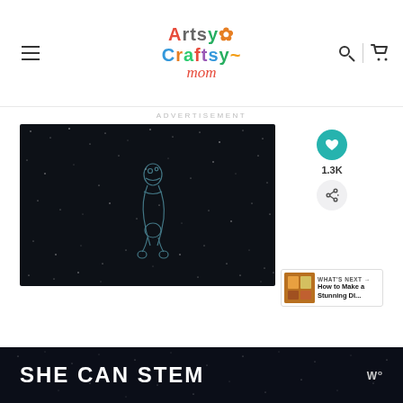Artsy Craftsy Mom — navigation header with logo, search and cart icons
ADVERTISEMENT
[Figure (photo): Dark starry night background with a faint outline illustration of a stylized character or animal figure in teal/white lines]
1.3K
WHAT'S NEXT → How to Make a Stunning DI...
[Figure (infographic): Dark banner with bold white text reading SHE CAN STEM and a Watt logo on the right]